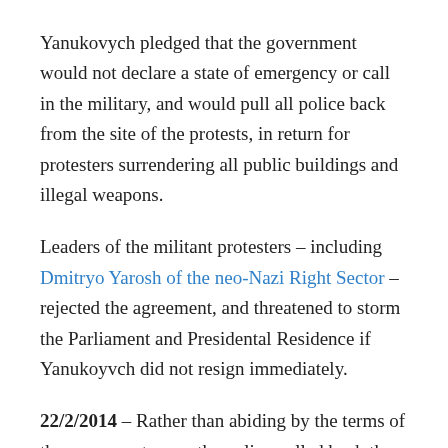Yanukovych pledged that the government would not declare a state of emergency or call in the military, and would pull all police back from the site of the protests, in return for protesters surrendering all public buildings and illegal weapons.
Leaders of the militant protesters – including Dmitryo Yarosh of the neo-Nazi Right Sector – rejected the agreement, and threatened to storm the Parliament and Presidental Residence if Yanukoyvch did not resign immediately.
22/2/2014 – Rather than abiding by the terms of the agreement, once the police pulled back the protesters stormed government buildings and seized control of